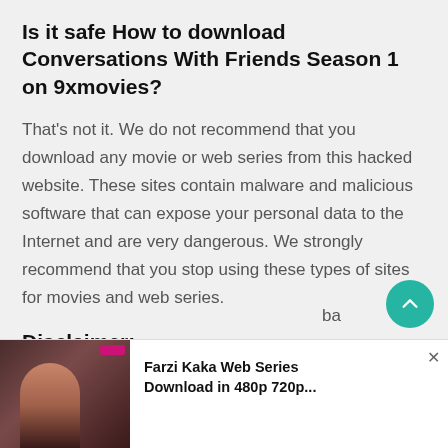Is it safe How to download Conversations With Friends Season 1 on 9xmovies?
That's not it. We do not recommend that you download any movie or web series from this hacked website. These sites contain malware and malicious software that can expose your personal data to the Internet and are very dangerous. We strongly recommend that you stop using these types of sites for movies and web series.
Disclaimer:
We urge our followers not to use these hacking websites. It is very dangerous and unsafe to steal your personal data through their links. We strongly recommend that you do not use or ba... you movie
[Figure (screenshot): Ad overlay banner at the bottom showing a thumbnail of a web series and text: Farzi Kaka Web Series Download in 480p 720p... with a close button]
Farzi Kaka Web Series Download in 480p 720p...